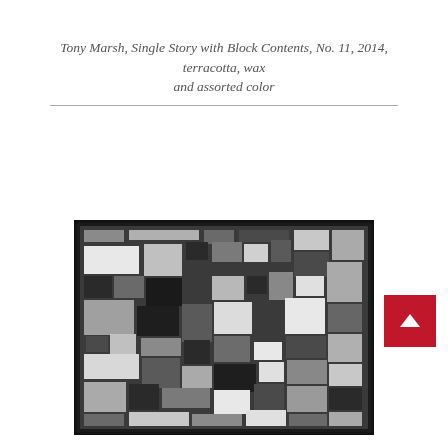Tony Marsh, Single Story with Block Contents, No. 11, 2014, terracotta, wax and assorted color
[Figure (photo): Artwork photo of Tony Marsh's 'Single Story with Block Contents, No. 11' — a framed assemblage of rectangular and square blocks in black, white, and grey shades arranged in a dense, grid-like composition within a dark frame.]